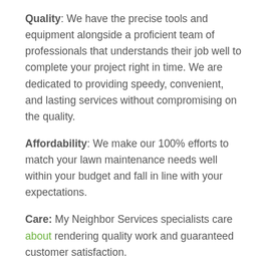Quality: We have the precise tools and equipment alongside a proficient team of professionals that understands their job well to complete your project right in time. We are dedicated to providing speedy, convenient, and lasting services without compromising on the quality.
Affordability: We make our 100% efforts to match your lawn maintenance needs well within your budget and fall in line with your expectations.
Care: My Neighbor Services specialists care about rendering quality work and guaranteed customer satisfaction.
Apart from any cases of particularly large